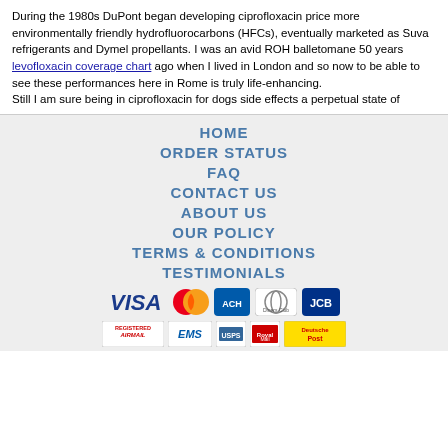During the 1980s DuPont began developing ciprofloxacin price more environmentally friendly hydrofluorocarbons (HFCs), eventually marketed as Suva refrigerants and Dymel propellants. I was an avid ROH balletomane 50 years levofloxacin coverage chart ago when I lived in London and so now to be able to see these performances here in Rome is truly life-enhancing.
Still I am sure being in ciprofloxacin for dogs side effects a perpetual state of
HOME
ORDER STATUS
FAQ
CONTACT US
ABOUT US
OUR POLICY
TERMS & CONDITIONS
TESTIMONIALS
[Figure (other): Payment method icons: VISA, MasterCard, ACH, Diners Club, JCB]
[Figure (other): Shipping method icons: Registered Airmail, EMS, USPS, Royal Mail, Deutsche Post]